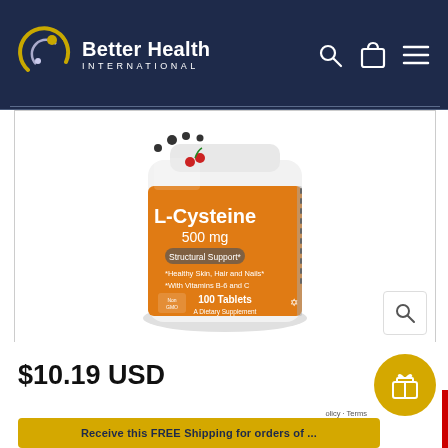Better Health International
[Figure (photo): NOW Foods L-Cysteine 500mg supplement bottle - orange label, 100 tablets, Structural Support, Healthy Skin Hair and Nails, With Vitamins B-6 and C, A Dietary Supplement]
$10.19 USD
Receive this FREE Shipping for orders of ...